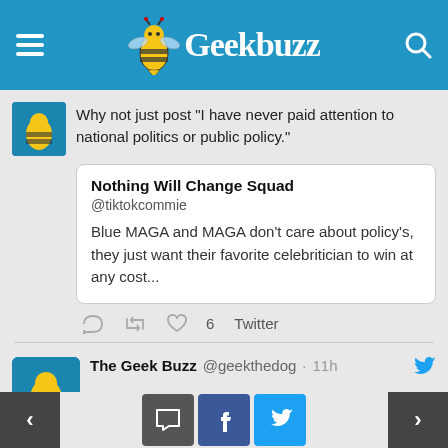Geekbuzz
Why not just post "I have never paid attention to national politics or public policy."
Nothing Will Change Squad
@tiktokcommie
Blue MAGA and MAGA don't care about policy's, they just want their favorite celebritician to win at any cost...
6  Twitter
The Geek Buzz  @geekthedog  ·  11h
A very very very compressed summary, but essentially true.
RDH  @HoltzmanRaymond